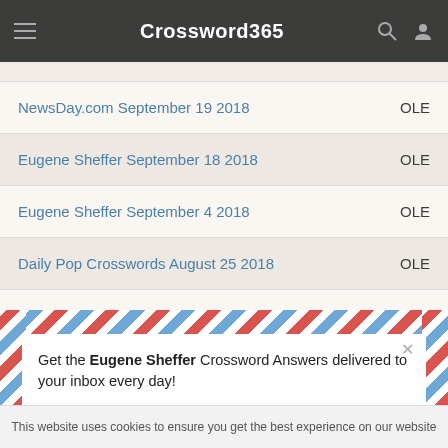Crossword365
| Crossword | Answer |
| --- | --- |
| NewsDay.com September 19 2018 | OLE |
| Eugene Sheffer September 18 2018 | OLE |
| Eugene Sheffer September 4 2018 | OLE |
| Daily Pop Crosswords August 25 2018 | OLE |
| LA Times August 2 2018 | OLE |
[Figure (screenshot): Email subscription popup with airmail border design. Text: 'Get the Eugene Sheffer Crossword Answers delivered to your inbox every day!' with an email input field and submit button.]
This website uses cookies to ensure you get the best experience on our website